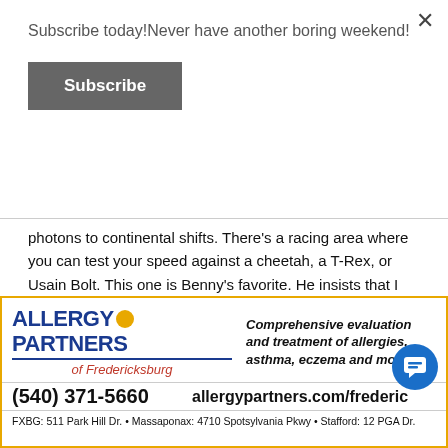Subscribe today!Never have another boring weekend!
Subscribe
photons to continental shifts. There's a racing area where you can test your speed against a cheetah, a T-Rex, or Usain Bolt. This one is Benny's favorite. He insists that I run with him again and again, regardless of how many people are waiting in line. They've got info about relativity, erosion, animal speeds, and the speed of sound. The whole space is shadowed by a full-scale replica of an SR-71 Blackbird.
Overall it was definitely worth the trip! It's not too far from
[Figure (infographic): Advertisement for Allergy Partners of Fredericksburg. Logo with orange circle, blue text, red cursive subtitle. Tagline: Comprehensive evaluation and treatment of allergies, asthma, eczema and more. Phone: (540) 371-5660. Website: allergypartners.com/frederic. Locations: FXBG: 511 Park Hill Dr. • Massaponax: 4710 Spotsylvania Pkwy • Stafford: 12 PGA Dr.]